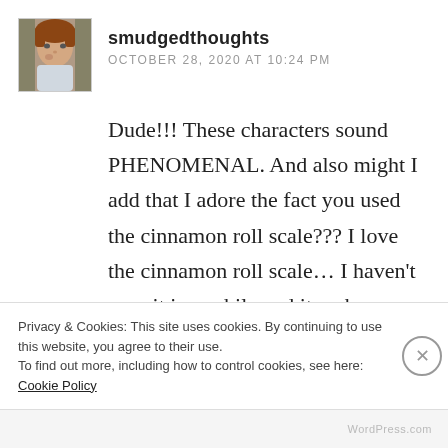[Figure (photo): Small avatar photo of a child with reddish hair, sitting with hand near face]
smudgedthoughts
OCTOBER 28, 2020 AT 10:24 PM
Dude!!! These characters sound PHENOMENAL. And also might I add that I adore the fact you used the cinnamon roll scale??? I love the cinnamon roll scale… I haven't seen it in a while and it makes me SAD… But seriously. This story
Privacy & Cookies: This site uses cookies. By continuing to use this website, you agree to their use.
To find out more, including how to control cookies, see here: Cookie Policy
Close and accept